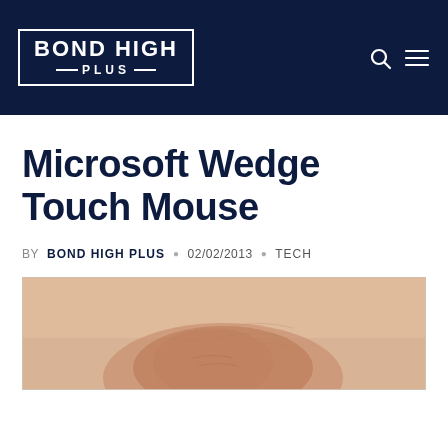Bond High Plus
Microsoft Wedge Touch Mouse
BY BOND HIGH PLUS · 02/02/2013 · TECH
[Figure (photo): Close-up photo of a hand touching or resting on a device, shown from above with skin detail visible.]